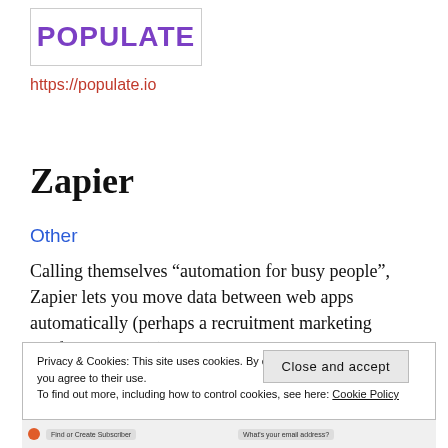[Figure (logo): POPULATE logo in bold purple text inside a bordered box]
https://populate.io
Zapier
Other
Calling themselves “automation for busy people”, Zapier lets you move data between web apps automatically (perhaps a recruitment marketing platform and ATS), saving you time and ensuring data integrity.
Privacy & Cookies: This site uses cookies. By continuing to use this website, you agree to their use.
To find out more, including how to control cookies, see here: Cookie Policy
Close and accept